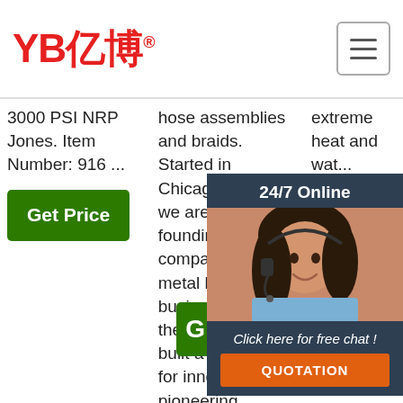[Figure (logo): YB億博 logo in red with registered trademark symbol]
3000 PSI NRP Jones. Item Number: 916 ...
Get Price
hose assemblies and braids. Started in Chicago in 1942, we are one of the founding companies in the metal hose business. Over the years, we've built a reputation for innovation, pioneering technological processes, and dedication to exceeding our ...
Get Price
extreme heat and wat... The abil lifes ass pro to w slip hos
[Figure (photo): Customer service representative (woman with headset) shown in a 24/7 Online chat popup overlay with QUOTATION button]
[Figure (infographic): TOP back-to-top button with orange dots and text]